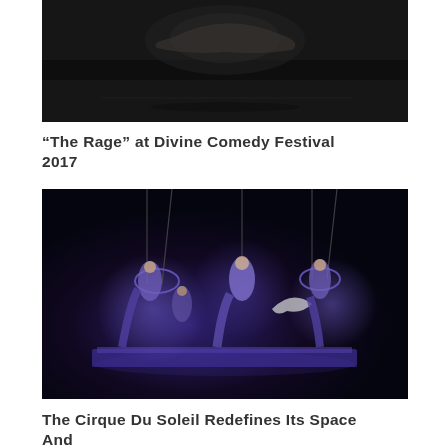[Figure (photo): Dark theatrical performance photo showing a shadowed figure against a dark background with dramatic lighting and a shadow on the floor.]
“The Rage” at Divine Comedy Festival 2017
[Figure (photo): Cirque Du Soleil aerial performance with performers in purple and blue costumes suspended from ropes/aerial rings above a decorated platform, on a dark stage with dramatic blue-purple lighting.]
The Cirque Du Soleil Redefines Its Space And